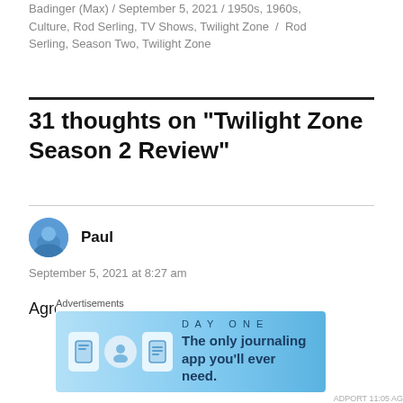Badinger (Max) / September 5, 2021 / 1950s, 1960s, Culture, Rod Serling, TV Shows, Twilight Zone / Rod Serling, Season Two, Twilight Zone
31 thoughts on “Twilight Zone Season 2 Review”
Paul
September 5, 2021 at 8:27 am
Agree Max this was a strong season. Lots of
[Figure (screenshot): Advertisement banner for DAY ONE journaling app with light blue background, app icons, and text: 'The only journaling app you’ll ever need.']